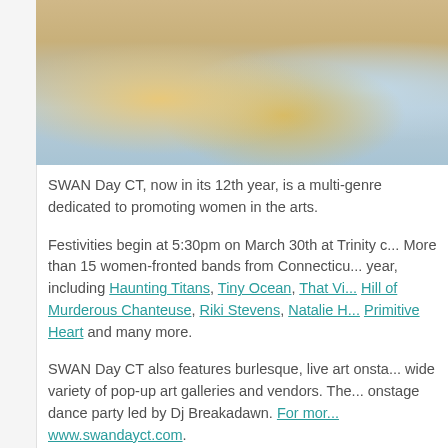[Figure (photo): Partial photo at top showing performers in colorful costumes/tutus on a light background, cropped at the sides]
SWAN Day CT, now in its 12th year, is a multi-genre dedicated to promoting women in the arts.
Festivities begin at 5:30pm on March 30th at Trinity c... More than 15 women-fronted bands from Connecticu... year, including Haunting Titans, Tiny Ocean, That Vi... Hill of Murderous Chanteuse, Riki Stevens, Natalie H... Primitive Heart and many more.
SWAN Day CT also features burlesque, live art onsta... wide variety of pop-up art galleries and vendors. The... onstage dance party led by Dj Breakadawn. For mor... www.swandayct.com.